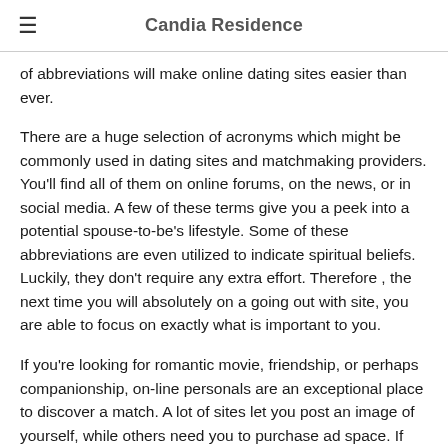Candia Residence
of abbreviations will make online dating sites easier than ever.
There are a huge selection of acronyms which might be commonly used in dating sites and matchmaking providers. You'll find all of them on online forums, on the news, or in social media. A few of these terms give you a peek into a potential spouse-to-be's lifestyle. Some of these abbreviations are even utilized to indicate spiritual beliefs. Luckily, they don't require any extra effort. Therefore , the next time you will absolutely on a going out with site, you are able to focus on exactly what is important to you.
If you're looking for romantic movie, friendship, or perhaps companionship, on-line personals are an exceptional place to discover a match. A lot of sites let you post an image of yourself, while others need you to purchase ad space. If you're buying date, you can even use internet dating site acronyms to find people who have other similar destinations. The best way to avoid